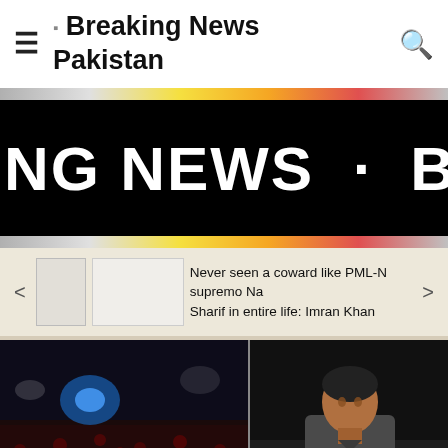Breaking News Pakistan
[Figure (screenshot): Breaking news ticker banner with scrolling text 'NG NEWS · BREAK' in large white bold text on black background, with color gradient stripe at top and bottom]
Never seen a coward like PML-N supremo Nawaz Sharif in entire life: Imran Khan
[Figure (photo): Two-panel photo: left shows a large political rally crowd at night with blue lights; right shows Imran Khan speaking into a microphone on stage]